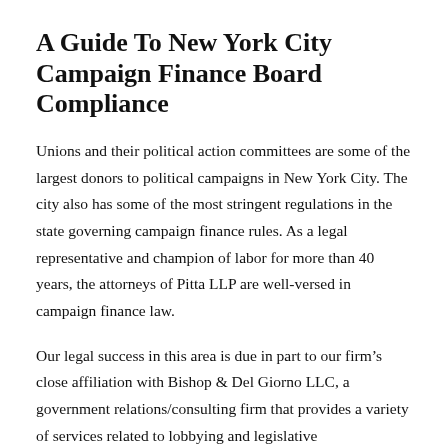A Guide To New York City Campaign Finance Board Compliance
Unions and their political action committees are some of the largest donors to political campaigns in New York City. The city also has some of the most stringent regulations in the state governing campaign finance rules. As a legal representative and champion of labor for more than 40 years, the attorneys of Pitta LLP are well-versed in campaign finance law.
Our legal success in this area is due in part to our firm’s close affiliation with Bishop & Del Giorno LLC, a government relations/consulting firm that provides a variety of services related to lobbying and legislative representation, including compliance with election finance regulations.
Rules For Independent Spenders In City